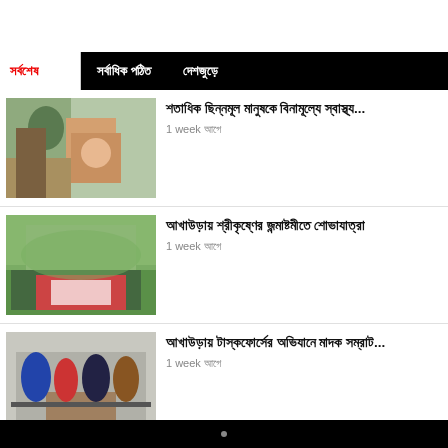সর্বশেষ | সর্বাধিক পঠিত | দেশজুড়ে
শতাধিক ছিন্নমূল মানুষকে বিনামূল্যে স্বাস্থ্য...
1 week আগে
আখাউড়ায় শ্রীকৃষ্ণের জন্মাষ্টমীতে শোভাযাত্রা
1 week আগে
আখাউড়ায় টাস্কফোর্সের অভিযানে মাদক সম্রাট...
1 week আগে
আখাউড়া রেলওয়ে স্টেশন '৯১